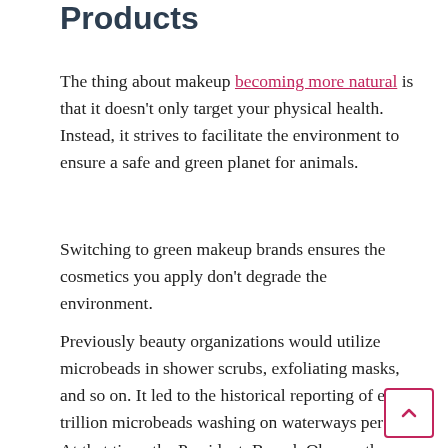Products
The thing about makeup becoming more natural is that it doesn't only target your physical health. Instead, it strives to facilitate the environment to ensure a safe and green planet for animals.
Switching to green makeup brands ensures the cosmetics you apply don't degrade the environment.
Previously beauty organizations would utilize microbeads in shower scrubs, exfoliating masks, and so on. It led to the historical reporting of eight trillion microbeads washing on waterways per day. At that time, the President, Barack Obama, then signed a bill that ensured a ban on small plastics. It's the ideal